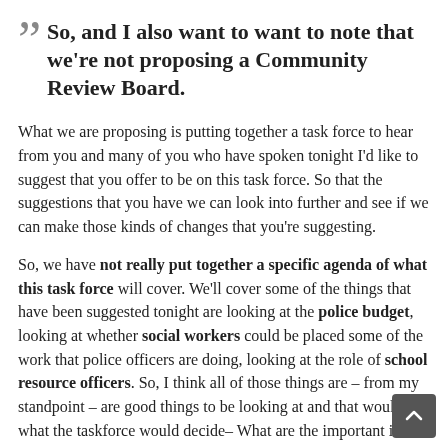So, and I also want to want to note that we're not proposing a Community Review Board.
What we are proposing is putting together a task force to hear from you and many of you who have spoken tonight I'd like to suggest that you offer to be on this task force. So that the suggestions that you have we can look into further and see if we can make those kinds of changes that you're suggesting.
So, we have not really put together a specific agenda of what this task force will cover. We'll cover some of the things that have been suggested tonight are looking at the police budget, looking at whether social workers could be placed some of the work that police officers are doing, looking at the role of school resource officers. So, I think all of those things are – from my standpoint – are good things to be looking at and that would be what the taskforce would decide– What are the important issue